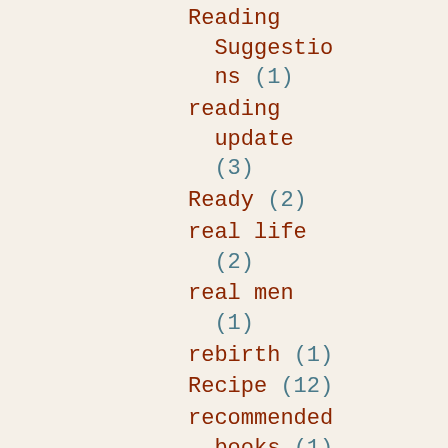Reading Suggestions (1)
reading update (3)
Ready (2)
real life (2)
real men (1)
rebirth (1)
Recipe (12)
recommended books (1)
Red Roses Mean Love (1)